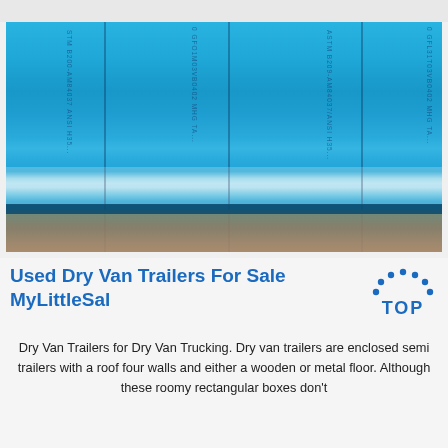[Figure (photo): Close-up photograph of bright blue polyethylene sheeting or tarp material with vertical dark text stripes printed on it (ASTM B209, AMG4037, ANSI etc. markings). The material appears rolled or stacked, with a wooden surface visible at the bottom.]
Used Dry Van Trailers For Sale MyLittleSal
[Figure (logo): MyLittleSalesman TOP logo — blue dots arranged in a semicircle above the word TOP in bold blue capital letters]
Dry Van Trailers for Dry Van Trucking. Dry van trailers are enclosed semi trailers with a roof four walls and either a wooden or metal floor. Although these roomy rectangular boxes don't